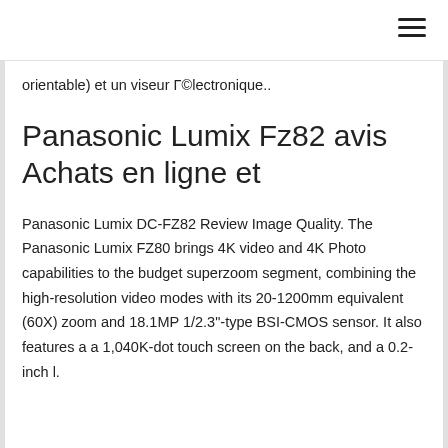orientable) et un viseur Γ©lectronique..
Panasonic Lumix Fz82 avis Achats en ligne et
Panasonic Lumix DC-FZ82 Review Image Quality. The Panasonic Lumix FZ80 brings 4K video and 4K Photo capabilities to the budget superzoom segment, combining the high-resolution video modes with its 20-1200mm equivalent (60X) zoom and 18.1MP 1/2.3"-type BSI-CMOS sensor. It also features a a 1,040K-dot touch screen on the back, and a 0.2-inch l.